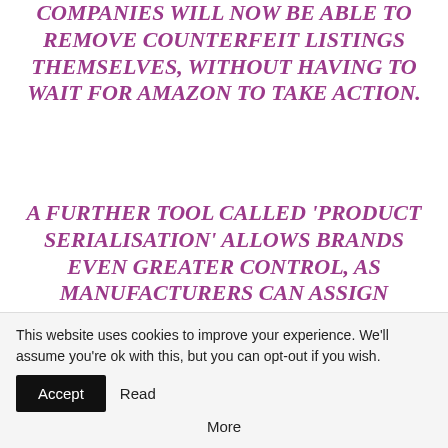COMPANIES WILL NOW BE ABLE TO REMOVE COUNTERFEIT LISTINGS THEMSELVES, WITHOUT HAVING TO WAIT FOR AMAZON TO TAKE ACTION.
A FURTHER TOOL CALLED 'PRODUCT SERIALISATION' ALLOWS BRANDS EVEN GREATER CONTROL, AS MANUFACTURERS CAN ASSIGN UNIQUE SERIAL NUMBERS TO EVERY PRODUCT THEY SELL, AND REQUIRE
This website uses cookies to improve your experience. We'll assume you're ok with this, but you can opt-out if you wish. Accept Read More